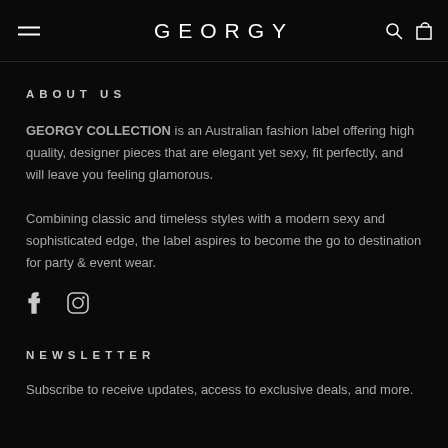GEORGY
ABOUT US
GEORGY COLLECTION is an Australian fashion label offering high quality, designer pieces that are elegant yet sexy, fit perfectly, and will leave you feeling glamorous.
Combining classic and timeless styles with a modern sexy and sophisticated edge, the label aspires to become the go to destination for party & event wear.
[Figure (other): Social media icons: Facebook and Instagram]
NEWSLETTER
Subscribe to receive updates, access to exclusive deals, and more.